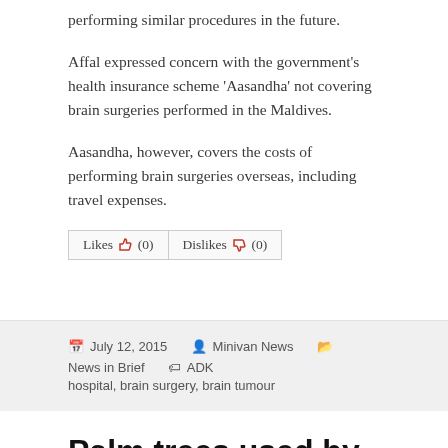performing similar procedures in the future.
Affal expressed concern with the government's health insurance scheme 'Aasandha' not covering brain surgeries performed in the Maldives.
Aasandha, however, covers the costs of performing brain surgeries overseas, including travel expenses.
Likes (0)   Dislikes (0)
July 12, 2015   Minivan News   News in Brief   ADK hospital, brain surgery, brain tumour
Palm trees used by MDP to curse President Yameen,